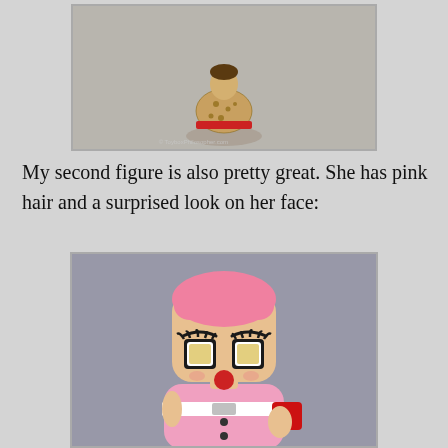[Figure (photo): A small collectible figurine/doll wearing a leopard print dress with a red belt/band, photographed against a gray background. Watermark reads: © ToyboxPhilosopher.com]
My second figure is also pretty great.  She has pink hair and a surprised look on her face:
[Figure (photo): A Funko Pop style collectible figure of a woman with pink hair, large stylized eyes with eyelashes, a round red nose/mouth, wearing a pink dress with a white belt, holding a red accessory. Photographed close-up against a gray background.]